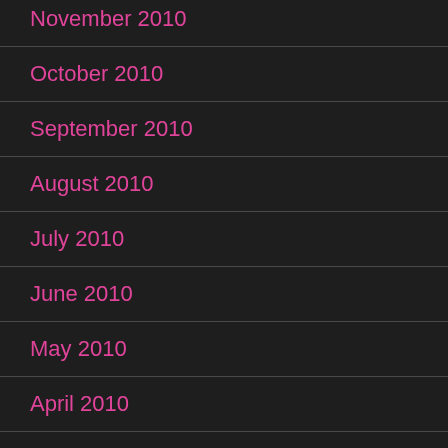November 2010
October 2010
September 2010
August 2010
July 2010
June 2010
May 2010
April 2010
March 2010